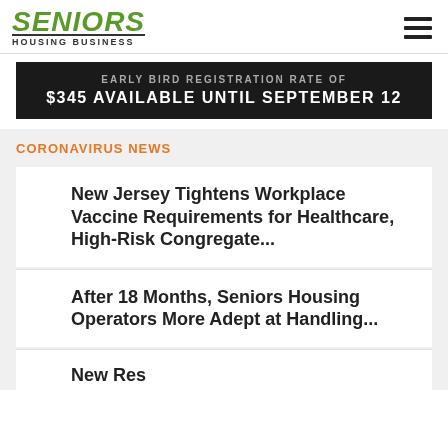SENIORS HOUSING BUSINESS
[Figure (other): Dark banner with text: EARLY BIRD REGISTRATION RATE OF $345 AVAILABLE UNTIL SEPTEMBER 12]
CORONAVIRUS NEWS
New Jersey Tightens Workplace Vaccine Requirements for Healthcare, High-Risk Congregate…
After 18 Months, Seniors Housing Operators More Adept at Handling…
(partial article title cut off)